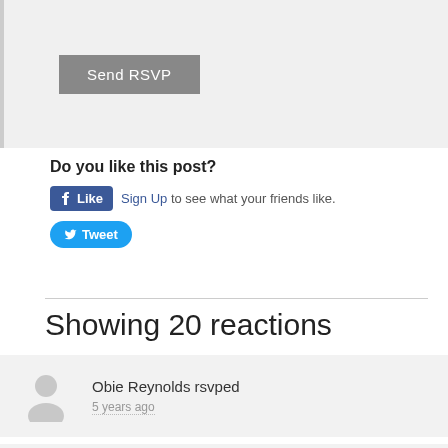[Figure (other): Send RSVP button in grey on light grey background]
Do you like this post?
[Figure (other): Facebook Like button and Sign Up text: Sign Up to see what your friends like.]
[Figure (other): Twitter Tweet button]
Showing 20 reactions
Obie Reynolds rsvped — 5 years ago
Pamela Onyekaba rsvped — 5 years ago